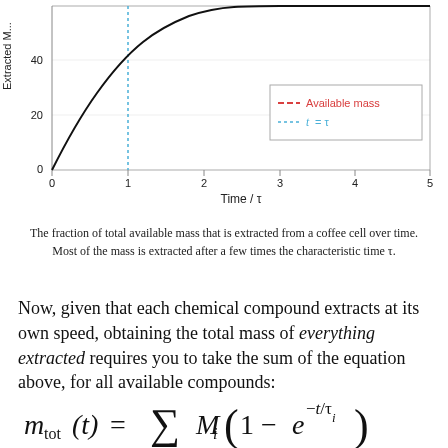[Figure (continuous-plot): Plot of Extracted Mass vs Time / tau. A black curve rises steeply from origin and levels off asymptotically. A blue dotted vertical line at t=tau (x=1). Y-axis labeled 'Extracted M...' with ticks at 0, 20, 40. X-axis labeled 'Time / tau' with ticks at 0,1,2,3,4,5. Legend box shows: red dashed line = 'Available mass', blue dotted line = 't = tau'.]
The fraction of total available mass that is extracted from a coffee cell over time. Most of the mass is extracted after a few times the characteristic time τ.
Now, given that each chemical compound extracts at its own speed, obtaining the total mass of everything extracted requires you to take the sum of the equation above, for all available compounds: